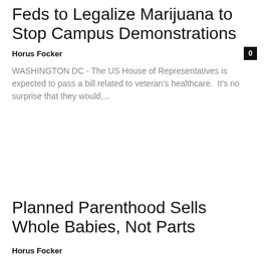Feds to Legalize Marijuana to Stop Campus Demonstrations
Horus Focker
WASHINGTON DC - The US House of Representatives is expected to pass a bill related to veteran's healthcare.  It's no surprise that they would,...
Planned Parenthood Sells Whole Babies, Not Parts
Horus Focker